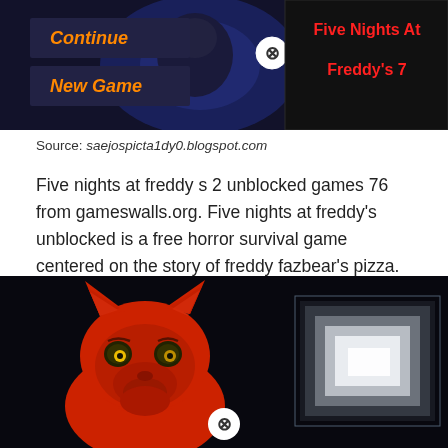[Figure (screenshot): Game menu screenshot showing 'Continue' and 'New Game' options in orange italic text on dark background, with a close button (X in circle), and 'Five Nights At Freddy's 7' title in red bold text on black panel on the right]
Source: saejospicta1dy0.blogspot.com
Five nights at freddy s 2 unblocked games 76 from gameswalls.org. Five nights at freddy's unblocked is a free horror survival game centered on the story of freddy fazbear's pizza.
[Figure (illustration): Illustration of Foxy character from Five Nights at Freddy's - a red fox animatronic with yellow eyes, looking pensively at a glowing white/blue box or monitor on the right side, set against a dark background. A close button (X in circle) is visible at the bottom center.]